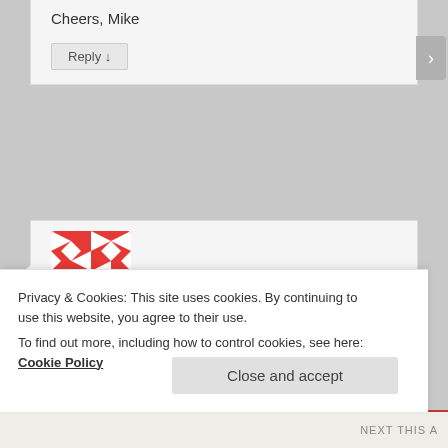Cheers, Mike
Reply ↓
[Figure (illustration): Red and white geometric pattern avatar for Roxane Dunbar]
Roxane Dunbar on September 10, 2011 at 17:03
said:
Hi,
I am campaigning to support the new cycle trails…
Privacy & Cookies: This site uses cookies. By continuing to use this website, you agree to their use.
To find out more, including how to control cookies, see here: Cookie Policy
Close and accept